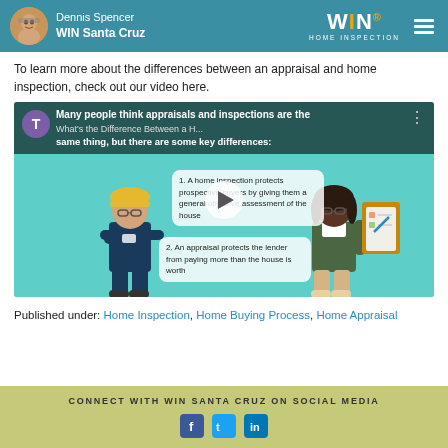Dennis Spencer WIN Santa Cruz | WIN HOME INSPECTION
To learn more about the differences between an appraisal and home inspection, check out our video here.
[Figure (screenshot): Video thumbnail titled 'What's the Difference Between a H...' showing animated characters of a home inspector and a woman with a clipboard, with play button overlay and two info boxes about home inspection and appraisal differences]
Published under: Home Inspection, Home Buying Process, Home Appraisal
CONNECT WITH WIN SANTA CRUZ ON SOCIAL MEDIA